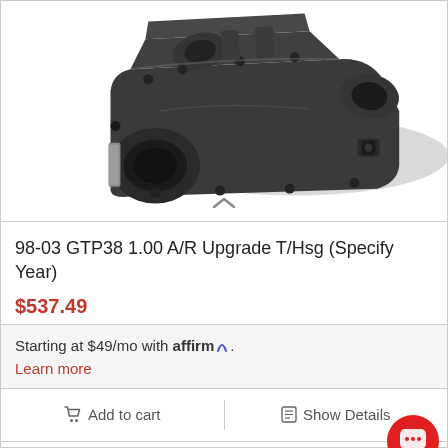[Figure (photo): Photograph of a turbocharger housing (GTP38 1.00 A/R Upgrade T/Hsg), a dark grey cast metal engine part with multiple ports and bolt holes, viewed from an angle.]
98-03 GTP38 1.00 A/R Upgrade T/Hsg (Specify Year)
$537.49
Starting at $49/mo with affirm.
Learn more
Add to cart
Show Details